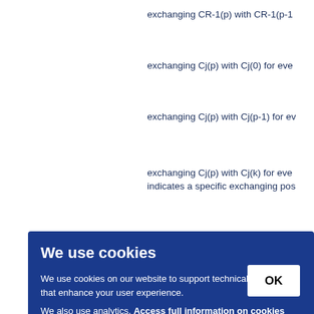exchanging CR-1(p) with CR-1(p-1
exchanging Cj(p) with Cj(0) for eve
exchanging Cj(p) with Cj(p-1) for ev
exchanging Cj(p) with Cj(k) for eve indicates a specific exchanging pos
exchanging CR-1(p) with CR-1(k), interle
[Figure (screenshot): Cookie consent overlay with dark blue background. Title: 'We use cookies'. Body text: 'We use cookies on our website to support technical features that enhance your user experience. We also use analytics. Access full information on cookies that we use and how to manage them'. OK button on the right.]